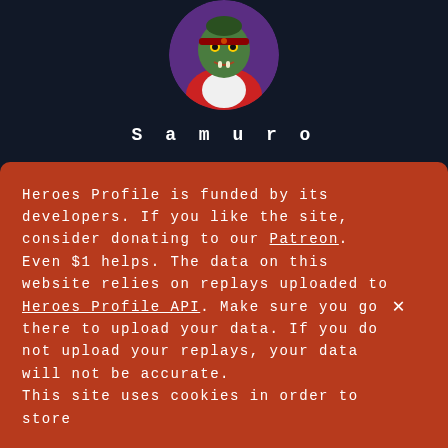[Figure (illustration): Circular avatar image of Samuro hero character — green-faced orc warrior with purple background, shown from chest up]
Samuro
Lost against a team with Samuro 61.45% of games
[Figure (illustration): Partial circular avatar image of a second hero character — appears to be wearing white/black/purple costume, only top portion visible]
Heroes Profile is funded by its developers. If you like the site, consider donating to our Patreon. Even $1 helps. The data on this website relies on replays uploaded to Heroes Profile API. Make sure you go there to upload your data. If you do not upload your replays, your data will not be accurate. This site uses cookies in order to store